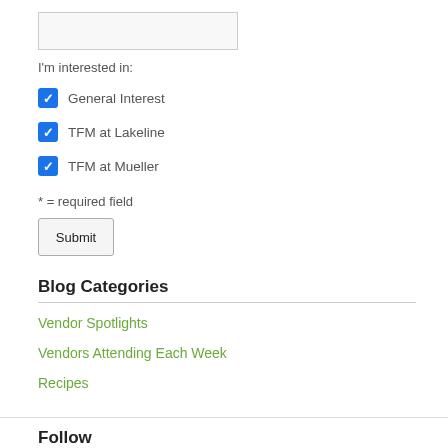[Figure (screenshot): Text input box (empty form field)]
I'm interested in:
☑ General Interest
☑ TFM at Lakeline
☑ TFM at Mueller
* = required field
[Figure (screenshot): Submit button]
Blog Categories
Vendor Spotlights
Vendors Attending Each Week
Recipes
Follow